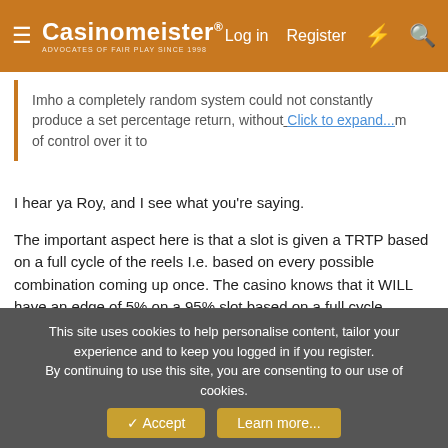Casinomeister® | Log in | Register
Imho a completely random system could not constantly produce a set percentage return, without... Click to expand...
I hear ya Roy, and I see what you're saying.
The important aspect here is that a slot is given a TRTP based on a full cycle of the reels I.e. based on every possible combination coming up once. The casino knows that it WILL have an edge of 5% on a 95% slot based on a full cycle.
Now, we know that many combinations are repeated over and over, and some seldom appear, so the slot doesn't throw out one of each combination in turn.....this is where the RNG comes in. So, the TRTP of the slot is THEORETICAL. In the short to
This site uses cookies to help personalise content, tailor your experience and to keep you logged in if you register.
By continuing to use this site, you are consenting to our use of cookies.